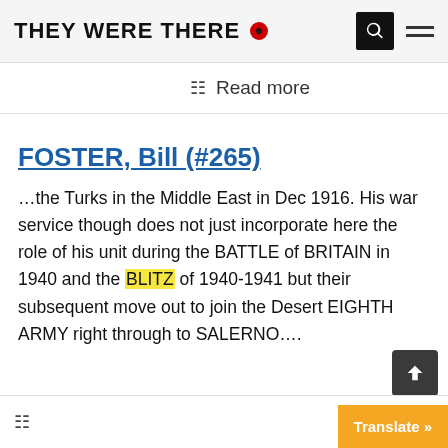THEY WERE THERE
Read more
FOSTER, Bill (#265)
…the Turks in the Middle East in Dec 1916. His war service though does not just incorporate here the role of his unit during the BATTLE of BRITAIN in 1940 and the BLITZ of 1940-1941 but their subsequent move out to join the Desert EIGHTH ARMY right through to SALERNO….
Translate »